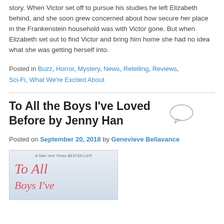story. When Victor set off to pursue his studies he left Elizabeth behind, and she soon grew concerned about how secure her place in the Frankenstein household was with Victor gone. But when Elizabeth set out to find Victor and bring him home she had no idea what she was getting herself into.
Posted in Buzz, Horror, Mystery, News, Retelling, Reviews, Sci-Fi, What We're Excited About
To All the Boys I've Loved Before by Jenny Han
Posted on September 20, 2018 by Genevieve Bellavance
[Figure (photo): Book cover of 'To All the Boys I've Loved Before' by Jenny Han, with 'A New York Times Bestseller' label at top and stylized pink/red title text on a light background.]